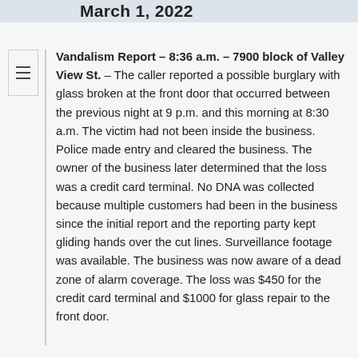March 1, 2022
Vandalism Report – 8:36 a.m. – 7900 block of Valley View St. – The caller reported a possible burglary with glass broken at the front door that occurred between the previous night at 9 p.m. and this morning at 8:30 a.m. The victim had not been inside the business. Police made entry and cleared the business. The owner of the business later determined that the loss was a credit card terminal. No DNA was collected because multiple customers had been in the business since the initial report and the reporting party kept gliding hands over the cut lines. Surveillance footage was available. The business was now aware of a dead zone of alarm coverage. The loss was $450 for the credit card terminal and $1000 for glass repair to the front door.